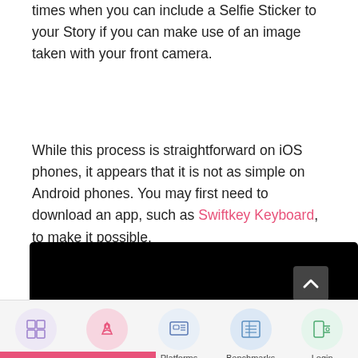times when you can include a Selfie Sticker to your Story if you can make use of an image taken with your front camera.
While this process is straightforward on iOS phones, it appears that it is not as simple on Android phones. You may first need to download an app, such as Swiftkey Keyboard, to make it possible.
[Figure (screenshot): Black image bar with scroll-to-top button (white chevron on dark background)]
[Figure (infographic): Navigation bar with five items: Tools, Agencies, Platforms, Benchmarks, Login, each with a circular icon on a colored background]